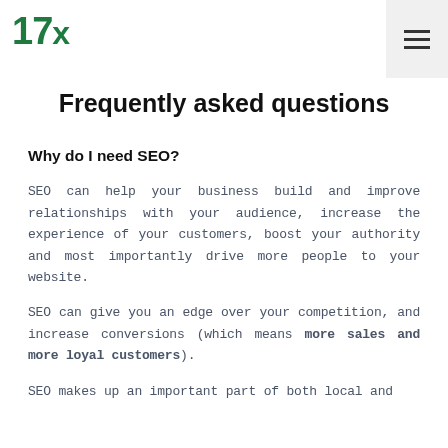17x
Frequently asked questions
Why do I need SEO?
SEO can help your business build and improve relationships with your audience, increase the experience of your customers, boost your authority and most importantly drive more people to your website.
SEO can give you an edge over your competition, and increase conversions (which means more sales and more loyal customers).
SEO makes up an important part of both local and